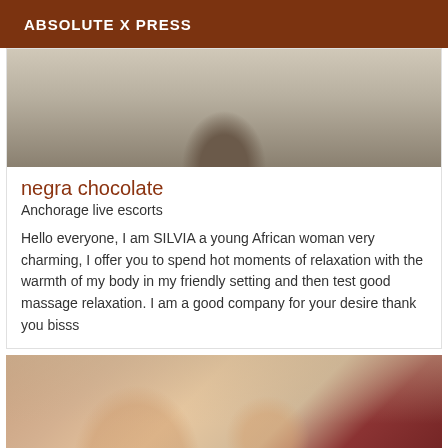ABSOLUTE X PRESS
[Figure (photo): Partial view of a person wearing a dark grey top, photographed from behind/side against a light background]
negra chocolate
Anchorage live escorts
Hello everyone, I am SILVIA a young African woman very charming, I offer you to spend hot moments of relaxation with the warmth of my body in my friendly setting and then test good massage relaxation. I am a good company for your desire thank you bisss
[Figure (photo): Partial view of a person with light brown hair in an indoor setting with red/dark background]